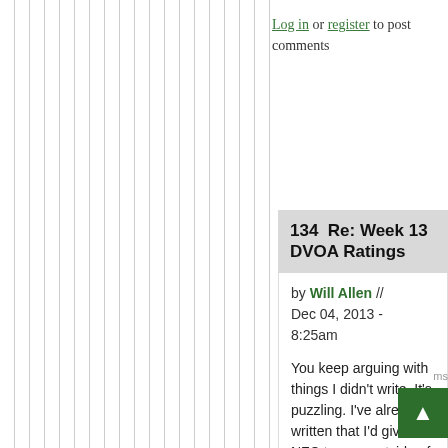Log in or register to post comments
134  Re: Week 13 DVOA Ratings
by Will Allen // Dec 04, 2013 - 8:25am
You keep arguing with things I didn't write. It's puzzling. I've already written that I'd give NFC teams, outside of the two who I